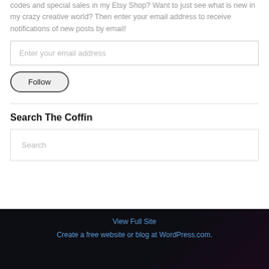codes and special sales in my Etsy Shop? Want to just see what is new in my crazy creative world? Then enter your email address to receive notifications of new posts by email!
Enter your email address
Follow
Search The Coffin
Search
View Full Site
Create a free website or blog at WordPress.com.